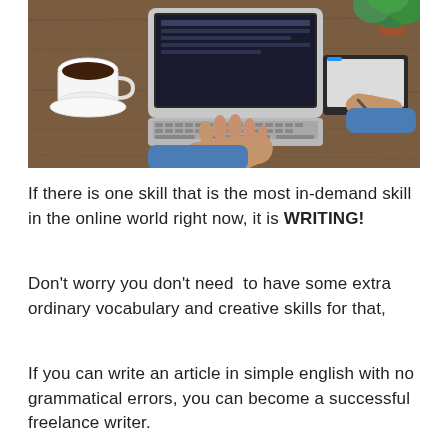[Figure (photo): Overhead view of a person wearing a blue denim shirt using a laptop with both hands on keyboard, while also writing on a graphics tablet with a stylus. A white coffee cup and saucer visible on the left, and a green potted plant in the upper right. Wooden desk surface visible.]
If there is one skill that is the most in-demand skill in the online world right now, it is WRITING!
Don't worry you don't need to have some extra ordinary vocabulary and creative skills for that,
If you can write an article in simple english with no grammatical errors, you can become a successful freelance writer.